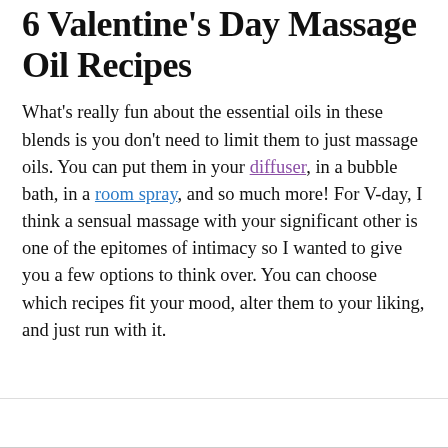6 Valentine's Day Massage Oil Recipes
What's really fun about the essential oils in these blends is you don't need to limit them to just massage oils. You can put them in your diffuser, in a bubble bath, in a room spray, and so much more! For V-day, I think a sensual massage with your significant other is one of the epitomes of intimacy so I wanted to give you a few options to think over. You can choose which recipes fit your mood, alter them to your liking, and just run with it.